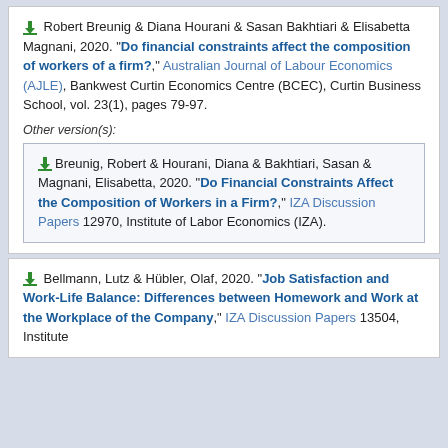Robert Breunig & Diana Hourani & Sasan Bakhtiari & Elisabetta Magnani, 2020. "Do financial constraints affect the composition of workers of a firm?," Australian Journal of Labour Economics (AJLE), Bankwest Curtin Economics Centre (BCEC), Curtin Business School, vol. 23(1), pages 79-97.
Other version(s):
Breunig, Robert & Hourani, Diana & Bakhtiari, Sasan & Magnani, Elisabetta, 2020. "Do Financial Constraints Affect the Composition of Workers in a Firm?," IZA Discussion Papers 12970, Institute of Labor Economics (IZA).
Bellmann, Lutz & Hübler, Olaf, 2020. "Job Satisfaction and Work-Life Balance: Differences between Homework and Work at the Workplace of the Company," IZA Discussion Papers 13504, Institute